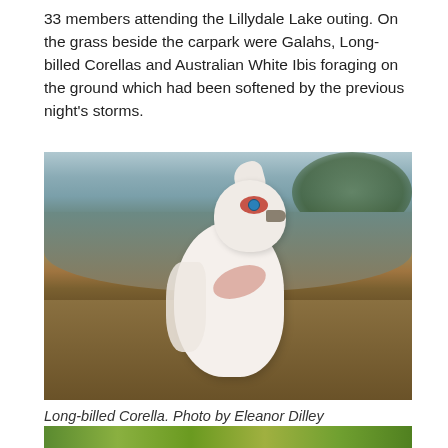33 members attending the Lillydale Lake outing. On the grass beside the carpark were Galahs, Long-billed Corellas and Australian White Ibis foraging on the ground which had been softened by the previous night's storms.
[Figure (photo): A Long-billed Corella (white parrot with red eye patch and blue eye) standing on brown grass, with blurred green foliage in the background. Photo taken outdoors.]
Long-billed Corella. Photo by Eleanor Dilley
[Figure (photo): Partial bottom strip showing green vegetation, cropped at bottom of page.]